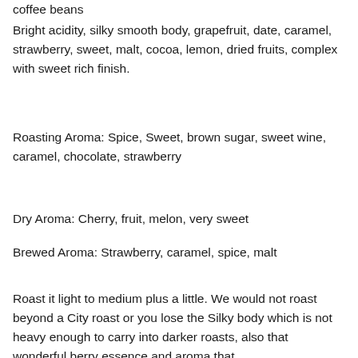coffee beans
Bright acidity, silky smooth body, grapefruit, date, caramel, strawberry, sweet, malt, cocoa, lemon, dried fruits, complex with sweet rich finish.
Roasting Aroma: Spice, Sweet, brown sugar, sweet wine, caramel, chocolate, strawberry
Dry Aroma: Cherry, fruit, melon, very sweet
Brewed Aroma: Strawberry, caramel, spice, malt
Roast it light to medium plus a little. We would not roast beyond a City roast or you lose the Silky body which is not heavy enough to carry into darker roasts, also that wonderful berry essence and aroma that